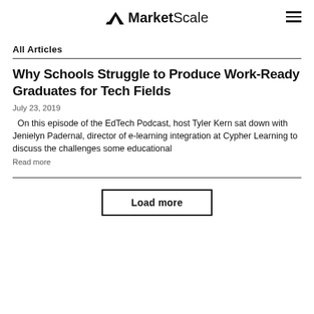MarketScale
All Articles
Why Schools Struggle to Produce Work-Ready Graduates for Tech Fields
July 23, 2019
On this episode of the EdTech Podcast, host Tyler Kern sat down with Jenielyn Padernal, director of e-learning integration at Cypher Learning to discuss the challenges some educational
Read more
Load more